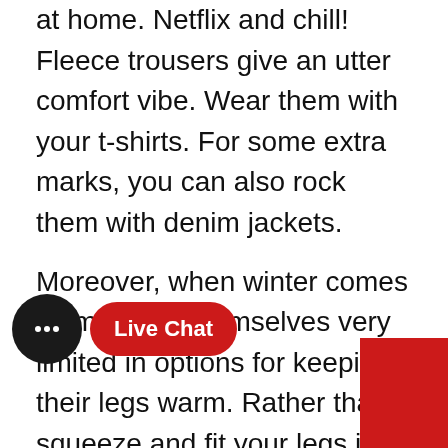at home. Netflix and chill! Fleece trousers give an utter comfort vibe. Wear them with your t-shirts. For some extra marks, you can also rock them with denim jackets.
Moreover, when winter comes in; men find themselves very limited in options for keeping their legs warm. Rather than squeeze and fit your legs into a pair of long legs, put on your legwear every morning. For that, a set of fleece trousers men in Pakistan could be what you need. Technically speaking, fleece trousers are not only bound to be worn in